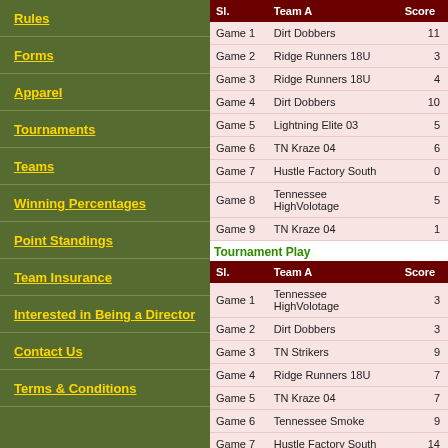Rules
Forms
Apparel
Tournaments
Teams
Winning Percentages
Point Standings
Team Insurance
Interested in Being a Director
Contact Us
Terms & Conditions
| Sl. | Team A | Score |
| --- | --- | --- |
| Game 1 | Dirt Dobbers | 11 |
| Game 2 | Ridge Runners 18U | 3 |
| Game 3 | Ridge Runners 18U | 4 |
| Game 4 | Dirt Dobbers | 10 |
| Game 5 | Lightning Elite 03 | 5 |
| Game 6 | TN Kraze 04 | 6 |
| Game 7 | Hustle Factory South | 0 |
| Game 8 | Tennessee HighVolotage | 5 |
| Game 9 | TN Kraze 04 | 1 |
Tournament Play
| Sl. | Team A | Score |
| --- | --- | --- |
| Game 1 | Tennessee HighVolotage | 3 |
| Game 2 | Dirt Dobbers | 3 |
| Game 3 | TN Strikers | 9 |
| Game 4 | Ridge Runners 18U | 7 |
| Game 5 | TN Kraze 04 | 7 |
| Game 6 | Tennessee Smoke | 9 |
| Game 7 | Hustle Factory South | 14 |